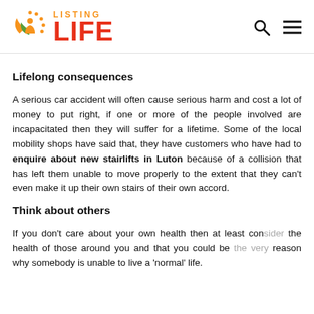Listing Life
Lifelong consequences
A serious car accident will often cause serious harm and cost a lot of money to put right, if one or more of the people involved are incapacitated then they will suffer for a lifetime. Some of the local mobility shops have said that, they have customers who have had to enquire about new stairlifts in Luton because of a collision that has left them unable to move properly to the extent that they can't even make it up their own stairs of their own accord.
Think about others
If you don't care about your own health then at least consider the health of those around you and that you could be the very reason why somebody is unable to live a 'normal' life.